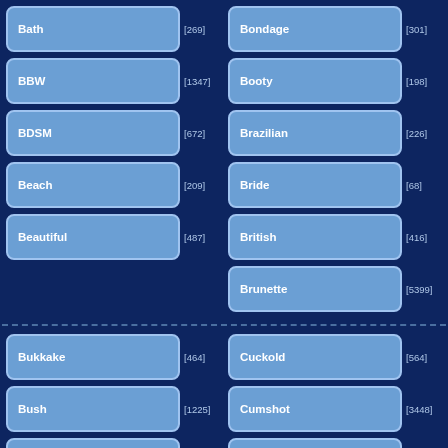Bath [269]
Bondage [301]
BBW [1347]
Booty [198]
BDSM [672]
Brazilian [226]
Beach [209]
Bride [68]
Beautiful [487]
British [416]
Brunette [5399]
Bukkake [464]
Cuckold [564]
Bush [1225]
Cumshot [3448]
Busty [5502]
Deepthroat [418]
Butt [293]
Dildo [794]
Cameltoe [20]
Doctor [264]
Cartoon [206]
Doggystyle [1605]
Double Penetration [...]